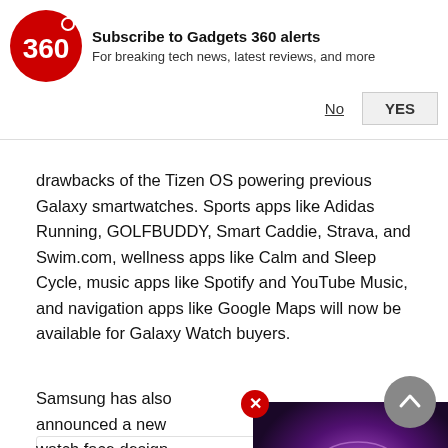[Figure (other): Gadgets 360 notification subscription banner with logo, title 'Subscribe to Gadgets 360 alerts', subtitle 'For breaking tech news, latest reviews, and more', and No/YES buttons]
drawbacks of the Tizen OS powering previous Galaxy smartwatches. Sports apps like Adidas Running, GOLFBUDDY, Smart Caddie, Strava, and Swim.com, wellness apps like Calm and Sleep Cycle, music apps like Spotify and YouTube Music, and navigation apps like Google Maps will now be available for Galaxy Watch buyers.
Also See  Qualcomm Snapdragon CPU Announced at MWC 2021
[Figure (screenshot): Video thumbnail showing a Samsung TV with a purple galaxy/spiral nebula wallpaper, with a red play button overlay and a red close button]
Samsung has also announced a new watch face design